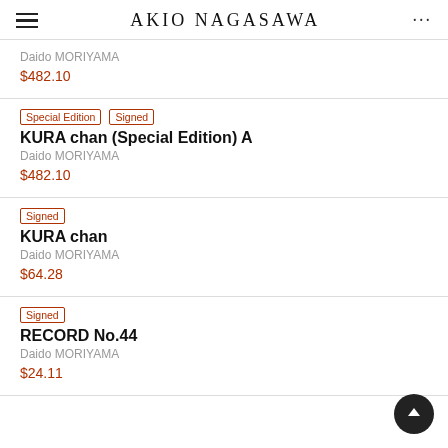AKIO NAGASAWA
Daido MORIYAMA | $482.10
Special Edition  Signed | KURA chan (Special Edition) A | Daido MORIYAMA | $482.10
Signed | KURA chan | Daido MORIYAMA | $64.28
Signed | RECORD No.44 | Daido MORIYAMA | $24.11